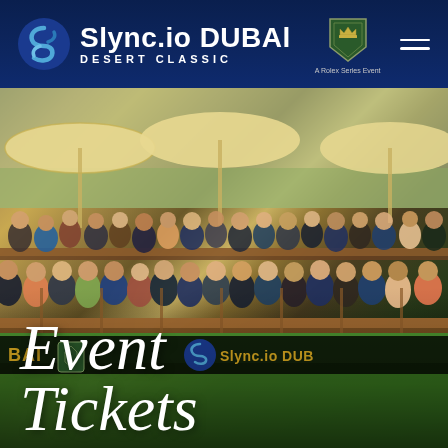[Figure (logo): Slync.io Dubai Desert Classic logo with Rolex Series badge and navigation hamburger menu on dark navy blue header background]
[Figure (photo): Crowd of spectators seated in a grandstand at the Slync.io Dubai Desert Classic golf tournament, with umbrellas overhead and the tournament branding visible. Script text 'Event Tickets' overlaid at the bottom of the image.]